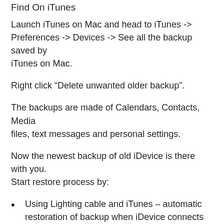Find On iTunes
Launch iTunes on Mac and head to iTunes -> Preferences -> Devices -> See all the backup saved by iTunes on Mac.
Right click “Delete unwanted older backup”.
The backups are made of Calendars, Contacts, Media files, text messages and personal settings.
Now the newest backup of old iDevice is there with you. Start restore process by:
Using Lighting cable and iTunes – automatic restoration of backup when iDevice connects to Windows or Mac